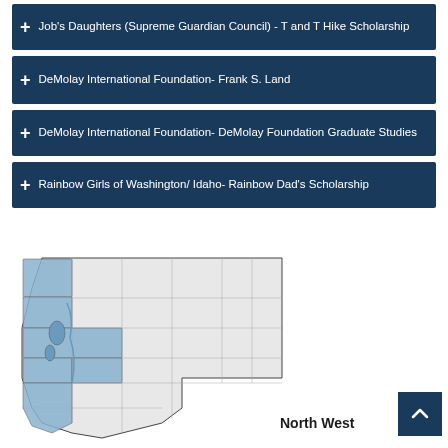Job's Daughters (Supreme Guardian Council) - T and T Hike Scholarship
DeMolay International Foundation- Frank S. Land
DeMolay International Foundation- DeMolay Foundation Graduate Studies
Rainbow Girls of Washington/ Idaho- Rainbow Dad's Scholarship
[Figure (map): Map of Washington and Idaho states with western counties highlighted in blue, labeled 'North West']